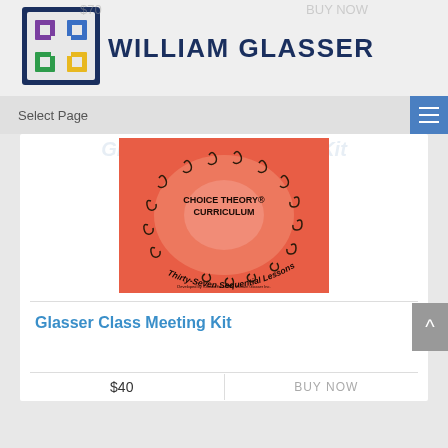WILLIAM GLASSER
Select Page
[Figure (photo): Book cover for 'Choice Theory Curriculum: Thirty-Seven Sequential Lessons' on a salmon/orange background with spiral decorations]
Glasser Class Meeting Kit
$40
BUY NOW